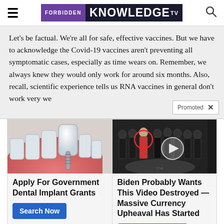Forbidden Knowledge TV
Let's be factual. We're all for safe, effective vaccines. But we have to acknowledge the Covid-19 vaccines aren't preventing all symptomatic cases, especially as time wears on. Remember, we always knew they would only work for around six months. Also, recall, scientific experience tells us RNA vaccines in general don't work very we...
[Figure (photo): Dental implant illustration showing a tooth implant in a jaw]
Apply For Government Dental Implant Grants
Search Now
[Figure (screenshot): Video thumbnail showing people in formal attire in what appears to be a government building with CIA seal on floor]
Biden Probably Wants This Video Destroyed — Massive Currency Upheaval Has Started
Watch The Video